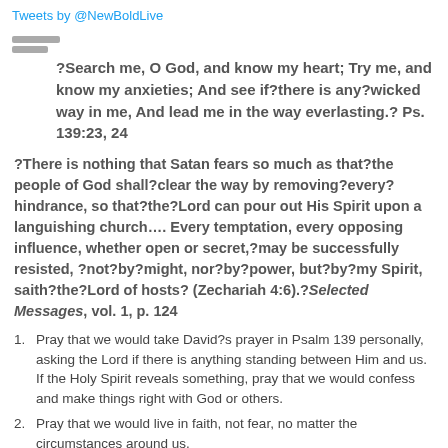Tweets by @NewBoldLive
?Search me, O God, and know my heart; Try me, and know my anxieties; And see if?there is any?wicked way in me, And lead me in the way everlasting.? Ps. 139:23, 24
?There is nothing that Satan fears so much as that?the people of God shall?clear the way by removing?every?hindrance, so that?the?Lord can pour out His Spirit upon a languishing church…. Every temptation, every opposing influence, whether open or secret,?may be successfully resisted, ?not?by?might, nor?by?power, but?by?my Spirit, saith?the?Lord of hosts? (Zechariah 4:6).?Selected Messages, vol. 1, p. 124
Pray that we would take David?s prayer in Psalm 139 personally, asking the Lord if there is anything standing between Him and us. If the Holy Spirit reveals something, pray that we would confess and make things right with God or others.
Pray that we would live in faith, not fear, no matter the circumstances around us.
Pray for provision for those who are losing jobs, getting laid off, or wondering where their next meal will come from if they can?